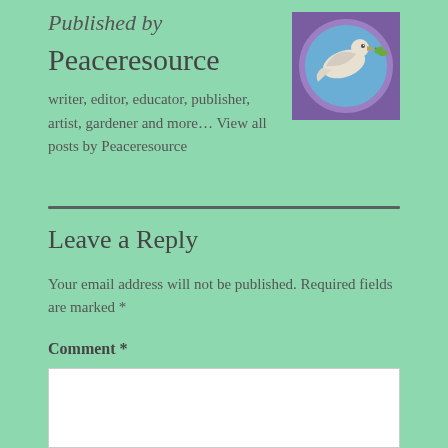Published by
Peaceresource
[Figure (illustration): Stained glass style illustration of a dove with an olive branch on a blue circular background with purple border]
writer, editor, educator, publisher, artist, gardener and more… View all posts by Peaceresource
Leave a Reply
Your email address will not be published. Required fields are marked *
Comment *